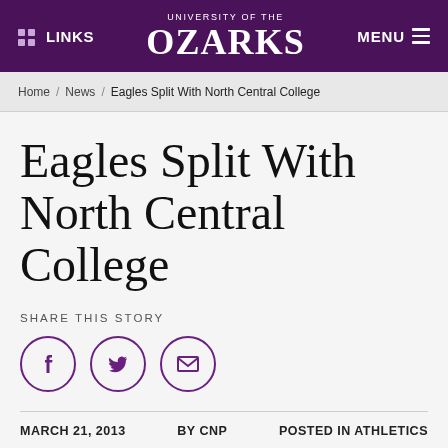UNIVERSITY OF THE OZARKS — LINKS | MENU
Home / News / Eagles Split With North Central College
Eagles Split With North Central College
SHARE THIS STORY
[Figure (other): Social share icons: Facebook, Twitter, Email]
MARCH 21, 2013   BY CNP   POSTED IN ATHLETICS